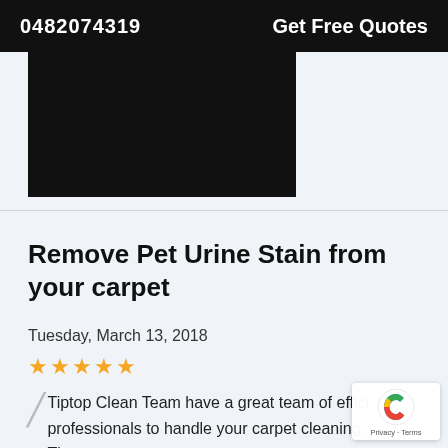0482074319   Get Free Quotes
[Figure (photo): Dark/black image placeholder for a carpet cleaning related photo]
Remove Pet Urine Stain from your carpet
Tuesday, March 13, 2018
★★★★★
Tiptop Clean Team have a great team of efficient professionals to handle your carpet cleaning. They ...